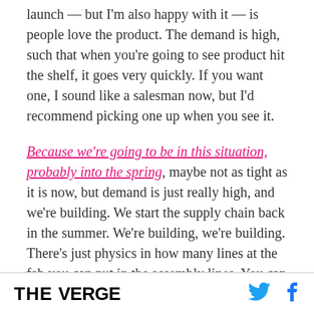launch — but I'm also happy with it — is people love the product. The demand is high, such that when you're going to see product hit the shelf, it goes very quickly. If you want one, I sound like a salesman now, but I'd recommend picking one up when you see it.
Because we're going to be in this situation, probably into the spring, maybe not as tight as it is now, but demand is just really high, and we're building. We start the supply chain back in the summer. We're building, we're building. There's just physics in how many lines at the fab you can put in the assembly lines. You can build as many as you can build, and
THE VERGE